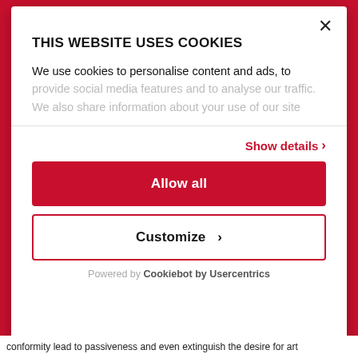THIS WEBSITE USES COOKIES
We use cookies to personalise content and ads, to provide social media features and to analyse our traffic. We also share information about your use of our site
Show details ›
Allow all
Customize ›
Powered by Cookiebot by Usercentrics
conformity lead to passiveness and even extinguish the desire for art